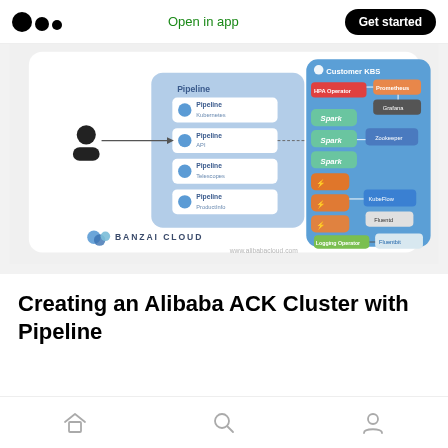Open in app   Get started
[Figure (schematic): Banzai Cloud architecture diagram showing a Pipeline panel on the left with Pipeline components (Kubernetes, API, Telescopes, ProductInfo) connected to a Customer KBS panel on the right containing HPA Operator, Prometheus, Grafana, Spark operator instances (x3), TFJob, KubeFlow, Fluentd, Logging Operator, and Fluentbit. Watermark: www.alibabacloud.com. Banzai Cloud logo at bottom.]
Creating an Alibaba ACK Cluster with Pipeline
Home  Search  Profile